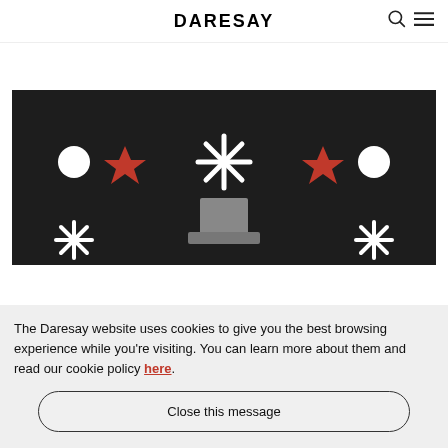DARESAY
[Figure (illustration): Dark background banner with decorative holiday/festive icons: white circles, red stars, white asterisk/snowflake shapes, and a grey pedestal or trophy in the center]
The Daresay website uses cookies to give you the best browsing experience while you're visiting. You can learn more about them and read our cookie policy here.
Close this message